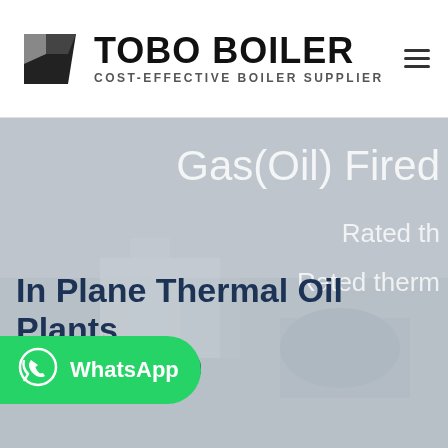[Figure (logo): Tobo Boiler logo with black trapezoid icon, bold text TOBO BOILER and subtitle COST-EFFECTIVE BOILER SUPPLIER]
Gas(Oil) Fired
Rated th
Rated therm
In Plane Thermal Oil Plants Type H2500
[Figure (illustration): WhatsApp contact button with green background, phone icon, and WhatsApp text label]
[Figure (photo): Background photo of industrial thermal oil plant / boiler equipment, muted gray-blue overlay]